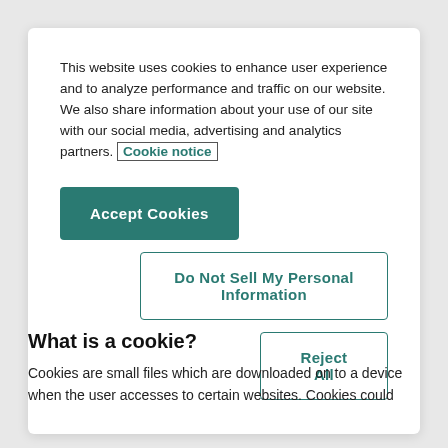This website uses cookies to enhance user experience and to analyze performance and traffic on our website. We also share information about your use of our site with our social media, advertising and analytics partners. Cookie notice
Accept Cookies
Do Not Sell My Personal Information
Reject All
What is a cookie?
Cookies are small files which are downloaded on to a device when the user accesses to certain websites. Cookies could